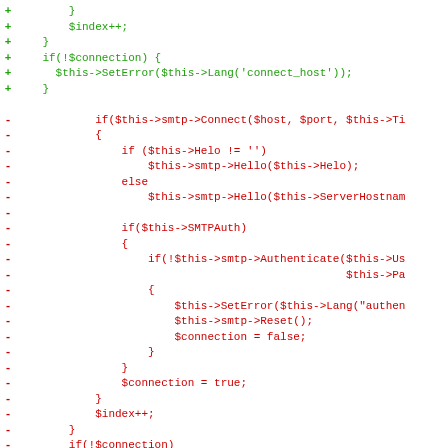Code diff showing added (green) and removed (red) lines of PHP SMTP connection code